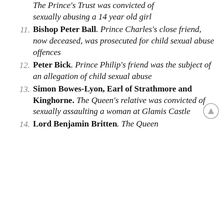(partial) The Prince's Trust was convicted of sexually abusing a 14 year old girl
11. Bishop Peter Ball. Prince Charles's close friend, now deceased, was prosecuted for child sexual abuse offences
12. Peter Bick. Prince Philip's friend was the subject of an allegation of child sexual abuse
13. Simon Bowes-Lyon, Earl of Strathmore and Kinghorne. The Queen's relative was convicted of sexually assaulting a woman at Glamis Castle
14. Lord Benjamin Britten. The Queen (partial)